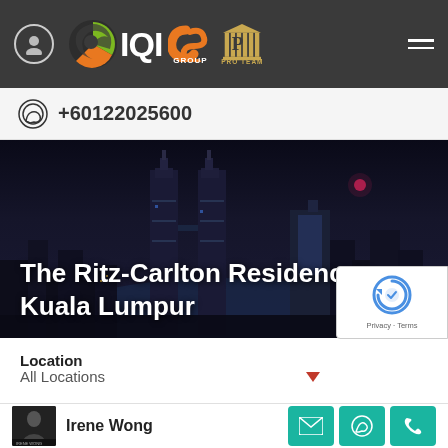[Figure (logo): IQI CS Group Pro Team navigation bar with user icon and hamburger menu on dark background]
+60122025600
[Figure (photo): Nighttime Kuala Lumpur skyline with Petronas Twin Towers]
The Ritz-Carlton Residences, Kuala Lumpur
Location
All Locations
[Figure (other): Google reCAPTCHA badge with Privacy and Terms links]
Irene Wong